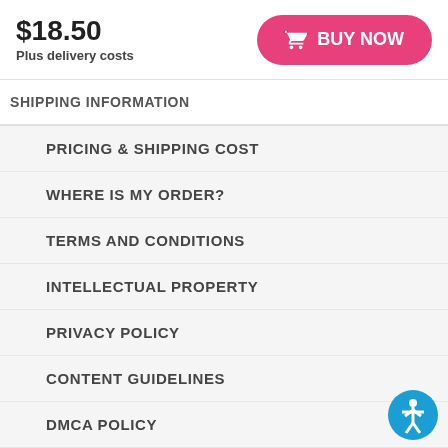$18.50
Plus delivery costs
[Figure (other): Pink BUY NOW button with shopping cart icon]
SHIPPING INFORMATION
PRICING & SHIPPING COST
WHERE IS MY ORDER?
TERMS AND CONDITIONS
INTELLECTUAL PROPERTY
PRIVACY POLICY
CONTENT GUIDELINES
DMCA POLICY
RETURN AND REFUND POLICY
BECOME AN ARTIST
[Figure (illustration): Blue circle accessibility icon button in bottom right corner]